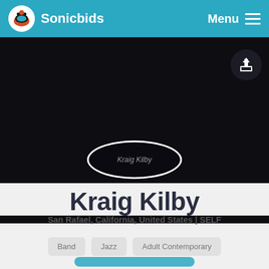Sonicbids  Menu
[Figure (photo): Dark hero background with artist avatar oval image in center labeled Kraig Kilby, and a share/upload icon button in top right]
Kraig Kilby
San Rafael, California, United States | SELF
Band
Jazz
Adult Contemporary